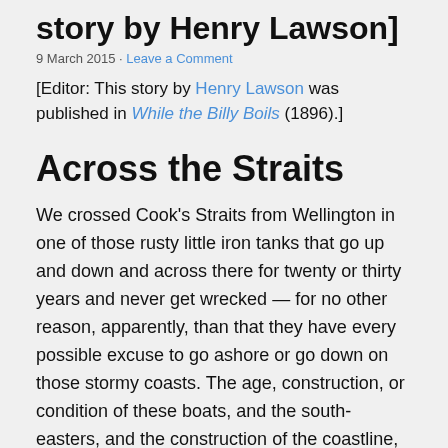story by Henry Lawson]
9 March 2015 · Leave a Comment
[Editor: This story by Henry Lawson was published in While the Billy Boils (1896).]
Across the Straits
We crossed Cook's Straits from Wellington in one of those rusty little iron tanks that go up and down and across there for twenty or thirty years and never get wrecked — for no other reason, apparently, than that they have every possible excuse to go ashore or go down on those stormy coasts. The age, construction, or condition of these boats, and the south-easters, and the construction of the coastline, are all decidedly in favour of